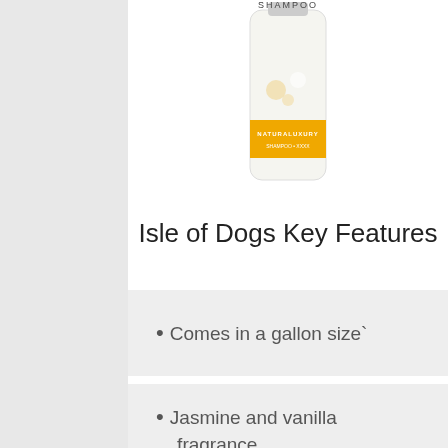[Figure (photo): Product photo of Isle of Dogs shampoo bottle, white bottle with yellow/gold label reading NATURALUXURY, partially cropped at top]
Isle of Dogs Key Features
Comes in a gallon size`
Sulfate and paraben free
Jasmine and vanilla fragrance